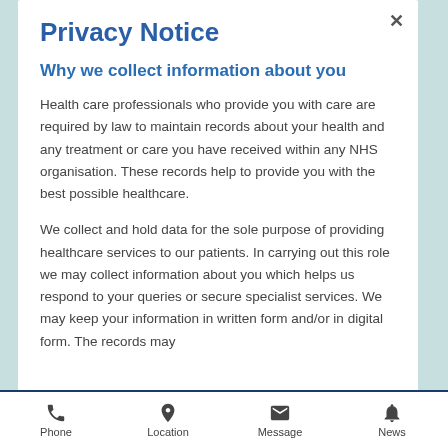Privacy Notice
Why we collect information about you
Health care professionals who provide you with care are required by law to maintain records about your health and any treatment or care you have received within any NHS organisation. These records help to provide you with the best possible healthcare.
We collect and hold data for the sole purpose of providing healthcare services to our patients. In carrying out this role we may collect information about you which helps us respond to your queries or secure specialist services. We may keep your information in written form and/or in digital form. The records may
Phone  Location  Message  News